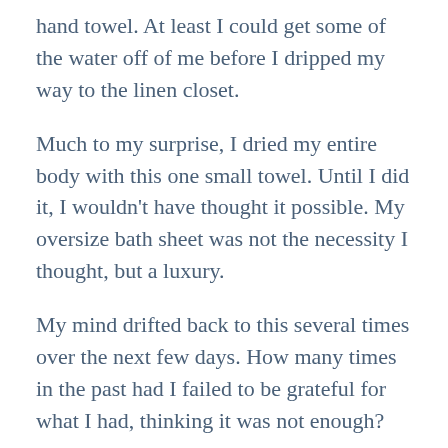hand towel. At least I could get some of the water off of me before I dripped my way to the linen closet.
Much to my surprise, I dried my entire body with this one small towel. Until I did it, I wouldn't have thought it possible. My oversize bath sheet was not the necessity I thought, but a luxury.
My mind drifted back to this several times over the next few days. How many times in the past had I failed to be grateful for what I had, thinking it was not enough?
The Bible tells us to give thanks in everything. This is not always easy to do. I have found that, like the miracle of the loaves and fishes, when I